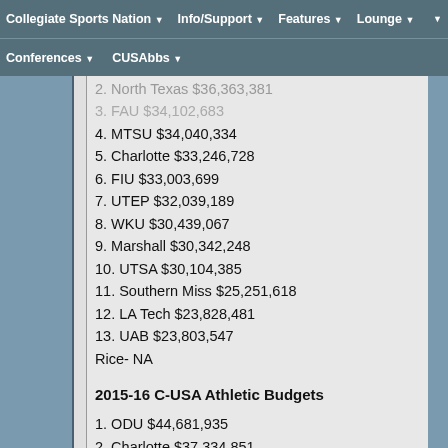Collegiate Sports Nation | Info/Support | Features | Lounge | Conferences | CUSAbbs
2. North Texas $36,363,381
3. FAU $34,102,683
4. MTSU $34,040,334
5. Charlotte $33,246,728
6. FIU $33,003,699
7. UTEP $32,039,189
8. WKU $30,439,067
9. Marshall $30,342,248
10. UTSA $30,104,385
11. Southern Miss $25,251,618
12. LA Tech $23,828,481
13. UAB $23,803,547
Rice- NA
2015-16 C-USA Athletic Budgets
1. ODU $44,681,935
2. Charlotte $37,334,851
3. North Texas $34,155,537
4. UTEP $32,709,050
5. UAB $32,453,663
6. MTSU $32,412,731
7. FAU $33,141,319